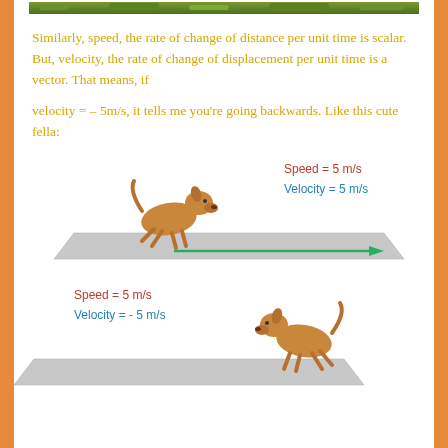[Figure (illustration): Top image strip showing green foliage/nature scene]
Similarly, speed, the rate of change of distance per unit time is scalar. But, velocity, the rate of change of displacement per unit time is a vector. That means, if
velocity = – 5m/s, it tells me you're going backwards. Like this cute fella:
[Figure (illustration): Dog running forward on a grey platform with a green arrow pointing right. Labels: Speed = 5 m/s (red), Velocity = 5 m/s (blue)]
[Figure (illustration): Dog running backward on a grey platform. Labels: Speed = 5 m/s (red), Velocity = - 5 m/s (blue)]